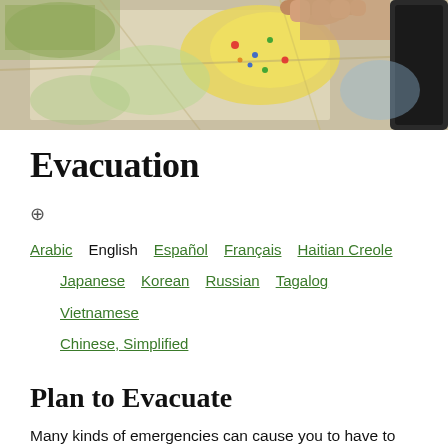[Figure (photo): Close-up photograph of hands pointing at a colorful map, with a black smartphone visible on the right side]
Evacuation
⊕ Arabic  English  Español  Français  Haitian Creole  Japanese  Korean  Russian  Tagalog  Vietnamese  Chinese, Simplified
Plan to Evacuate
Many kinds of emergencies can cause you to have to evacuate. In some cases, you may have a day or two to prepare while other situations might call for an immediate evacuation. Planning is vital to making sure that you can evacuate quickly and safely no matter what the